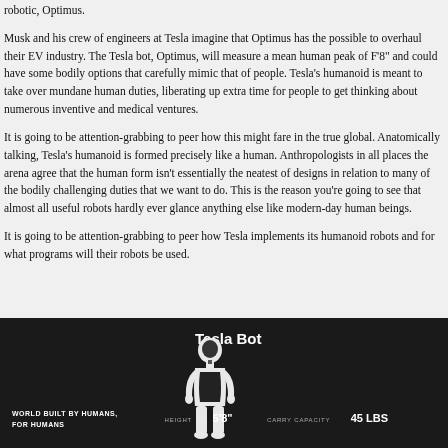robotic, Optimus.
Musk and his crew of engineers at Tesla imagine that Optimus has the possible to overhaul their EV industry. The Tesla bot, Optimus, will measure a mean human peak of F'8" and could have some bodily options that carefully mimic that of people. Tesla's humanoid is meant to take over mundane human duties, liberating up extra time for people to get thinking about numerous inventive and medical ventures.
It is going to be attention-grabbing to peer how this might fare in the true global. Anatomically talking, Tesla's humanoid is formed precisely like a human. Anthropologists in all places the arena agree that the human form isn't essentially the neatest of designs in relation to many of the bodily challenging duties that we want to do. This is the reason you're going to see that almost all useful robots hardly ever glance anything else like modern-day human beings.
It is going to be attention-grabbing to peer how Tesla implements its humanoid robots and for what programs will their robots be used.
[Figure (illustration): Tesla Bot infographic on dark background showing a humanoid robot figure in white and black with title 'Tesla Bot', tagline 'WORLD BUILT BY HUMANS, FOR HUMANS', and specs HEIGHT 5'8" and CARRY CAPACITY 45 LBS]